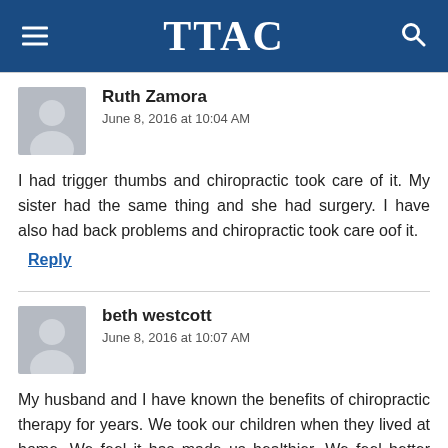TTAC
Ruth Zamora
June 8, 2016 at 10:04 AM
I had trigger thumbs and chiropractic took care of it. My sister had the same thing and she had surgery. I have also had back problems and chiropractic took care oof it.
Reply
beth westcott
June 8, 2016 at 10:07 AM
My husband and I have known the benefits of chiropractic therapy for years. We took our children when they lived at home. We feel it has made us healthier. We feel better and have better immunity to illnesses. I don't hesitate to recommend it. I have never experienced a